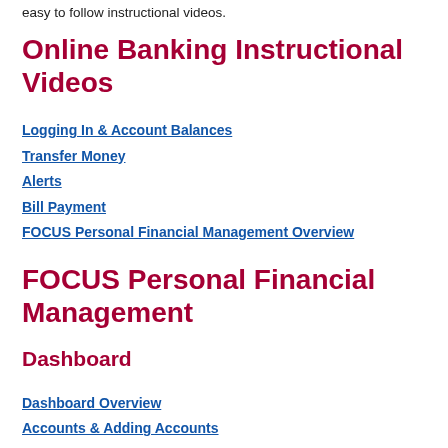easy to follow instructional videos.
Online Banking Instructional Videos
Logging In & Account Balances
Transfer Money
Alerts
Bill Payment
FOCUS Personal Financial Management Overview
FOCUS Personal Financial Management
Dashboard
Dashboard Overview
Accounts & Adding Accounts